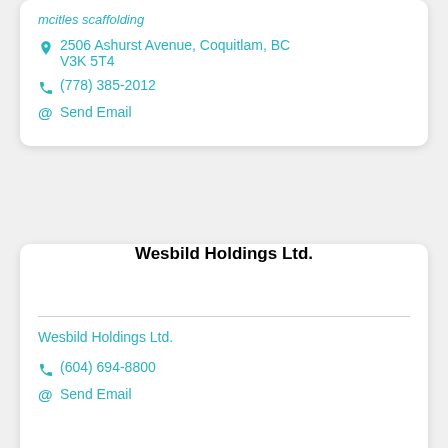mcitles scaffolding
2506 Ashurst Avenue, Coquitlam, BC V3K 5T4
(778) 385-2012
Send Email
Wesbild Holdings Ltd.
Wesbild Holdings Ltd.
(604) 694-8800
Send Email